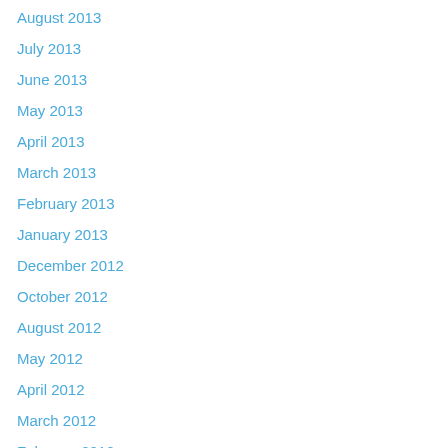August 2013
July 2013
June 2013
May 2013
April 2013
March 2013
February 2013
January 2013
December 2012
October 2012
August 2012
May 2012
April 2012
March 2012
February 2012
January 2012
December 2011
July 2011
October 2010